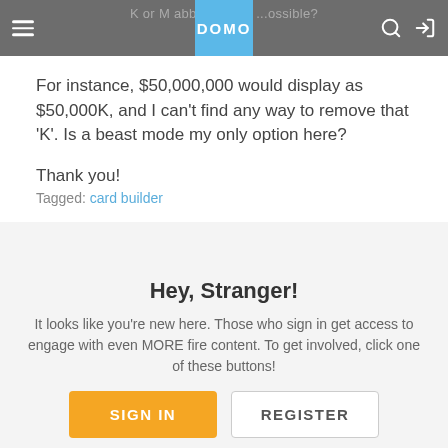K or M abbreviation. ...ossible?
For instance, $50,000,000 would display as $50,000K, and I can't find any way to remove that 'K'. Is a beast mode my only option here?
Thank you!
Tagged: card builder
Hey, Stranger!
It looks like you're new here. Those who sign in get access to engage with even MORE fire content. To get involved, click one of these buttons!